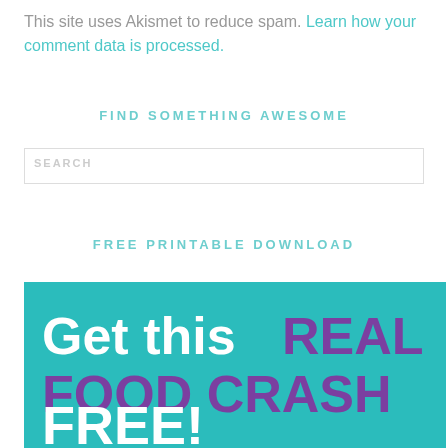This site uses Akismet to reduce spam. Learn how your comment data is processed.
FIND SOMETHING AWESOME
SEARCH
FREE PRINTABLE DOWNLOAD
[Figure (infographic): Teal banner with large bold text reading 'Get this REAL FOOD CRASH COURSE for FREE!' where 'REAL FOOD CRASH COURSE' is in purple and the rest is white, on a teal/turquoise background.]